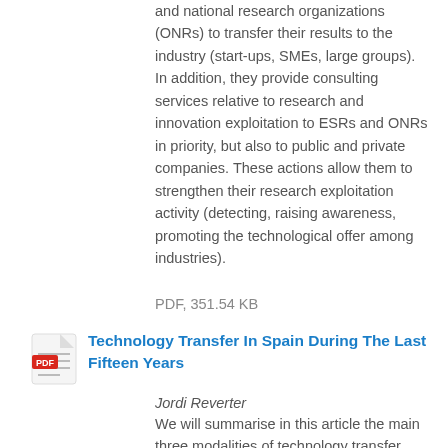and national research organizations (ONRs) to transfer their results to the industry (start-ups, SMEs, large groups). In addition, they provide consulting services relative to research and innovation exploitation to ESRs and ONRs in priority, but also to public and private companies. These actions allow them to strengthen their research exploitation activity (detecting, raising awareness, promoting the technological offer among industries).
PDF, 351.54 KB
[Figure (other): PDF file icon — red PDF label badge over a document icon]
Technology Transfer In Spain During The Last Fifteen Years
Jordi Reverter
We will summarise in this article the main three modalities of technology transfer (TT) throughout the last fifteen years in Spain, from the universities